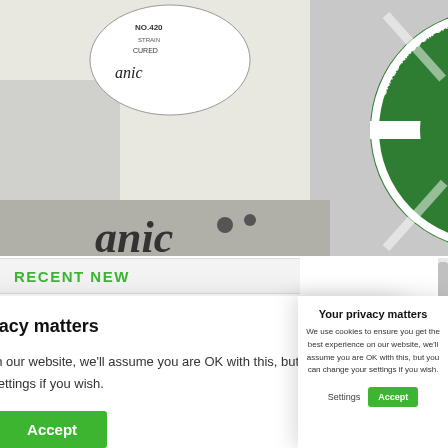[Figure (photo): Cannabis merchandise items including UKCSC (United Kingdom Cannabis Social Club) branded t-shirt with green logo, and other items on white and dark backgrounds]
RECENT NEW
[Figure (photo): People sitting at a panel/conference table, several individuals visible]
[Figure (photo): Cannabis plants growing outdoors against blue sky]
Your privacy matters
We use cookies to ensure you get the best experience on our website, we'll assume you are OK with this, but you can change your settings if you wish.
Settings
Accept